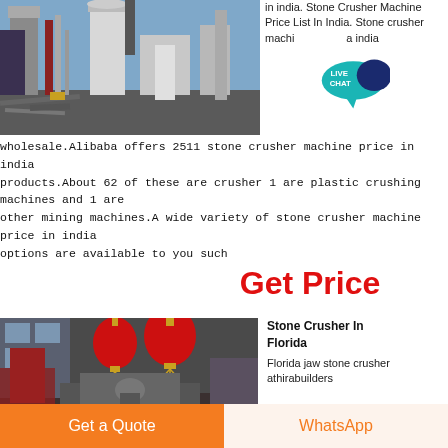[Figure (photo): Industrial stone crusher machinery and equipment outdoors against a blue sky, showing large silos, pipes, and metal structures]
in india. Stone Crusher Machine Price List In India. Stone crusher machine price in india
[Figure (infographic): Live Chat speech bubble icon in teal/cyan color with white text reading LIVE CHAT]
wholesale.Alibaba offers 2511 stone crusher machine price in india products.About 62 of these are crusher 1 are plastic crushing machines and 1 are other mining machines.A wide variety of stone crusher machine price in india options are available to you such
Get Price
[Figure (photo): Industrial stone crusher machine inside a factory with red Chinese lanterns hanging from ceiling]
Stone Crusher In Florida
Florida jaw stone crusher athirabuilders
Get a Quote
WhatsApp